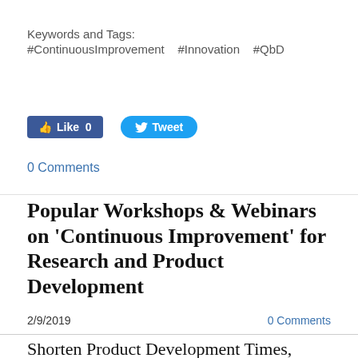Keywords and Tags:
#ContinuousImprovement   #Innovation   #QbD
[Figure (screenshot): Facebook Like button showing 'Like 0' and Twitter Tweet button]
0 Comments
Popular Workshops & Webinars on 'Continuous Improvement' for Research and Product Development
2/9/2019    0 Comments
Shorten Product Development Times, Error-Proof Products & Services, Build Quality-by-Design and Increase R&D Productivity with Lean, Kaizen, Six Sigma and Other Continuous